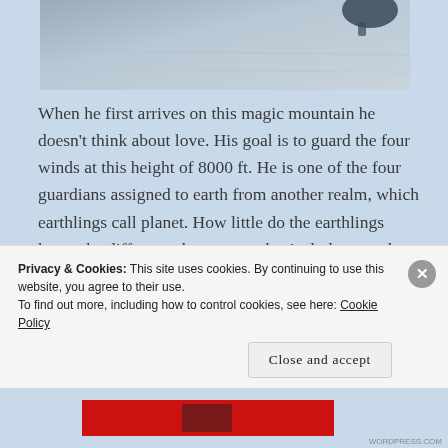[Figure (photo): Partial photo of a mountain or snowy scene, cropped at top, muted blue-grey tones with a dark shape visible at upper right.]
When he first arrives on this magic mountain he doesn't think about love. His goal is to guard the four winds at this height of 8000 ft. He is one of the four guardians assigned to earth from another realm, which earthlings call planet. How little do the earthlings know the difference between a physical planet and a spiritual realm. He comes from a realm and not a planet. But it's ok if they insist of describing
Privacy & Cookies: This site uses cookies. By continuing to use this website, you agree to their use.
To find out more, including how to control cookies, see here: Cookie Policy
Close and accept